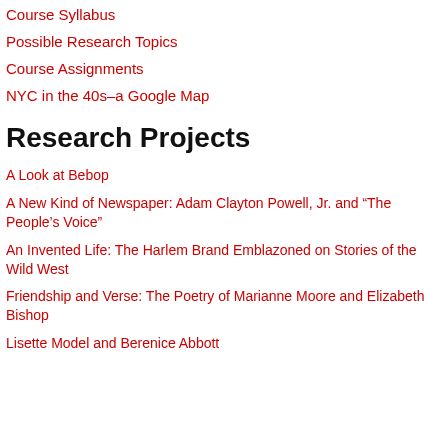Course Syllabus
Possible Research Topics
Course Assignments
NYC in the 40s–a Google Map
Research Projects
A Look at Bebop
A New Kind of Newspaper: Adam Clayton Powell, Jr. and “The People’s Voice”
An Invented Life: The Harlem Brand Emblazoned on Stories of the Wild West
Friendship and Verse: The Poetry of Marianne Moore and Elizabeth Bishop
Lisette Model and Berenice Abbott